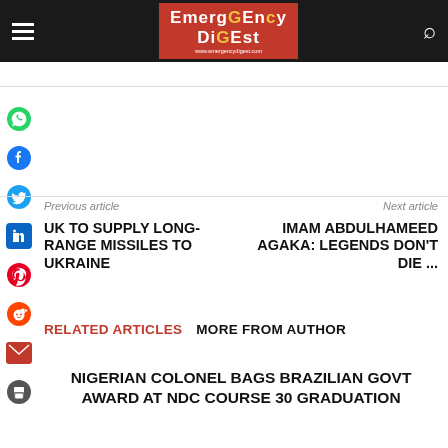Emergency Digest
[Figure (logo): Emergency Digest logo - red background with white stylized text]
Previous article
Next article
UK TO SUPPLY LONG-RANGE MISSILES TO UKRAINE
IMAM ABDULHAMEED AGAKA: LEGENDS DON'T DIE ...
RELATED ARTICLES
MORE FROM AUTHOR
NIGERIAN COLONEL BAGS BRAZILIAN GOVT AWARD AT NDC COURSE 30 GRADUATION